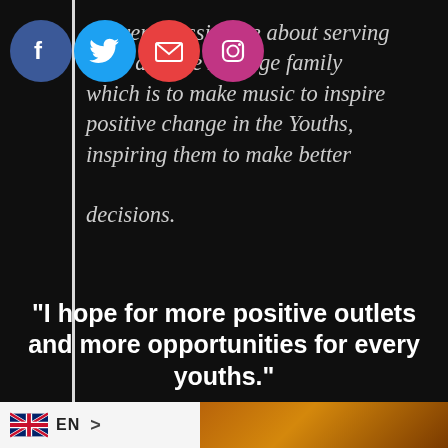[Figure (infographic): Social media icons: Facebook (blue circle), Twitter (light blue circle), Email/envelope (red circle), Instagram (pink/magenta circle)]
I'm very passionate about serving them and the Lineage family which is to make music to inspire positive change in the Youths, inspiring them to make better decisions.
“I hope for more positive outlets and more opportunities for every youths.”
[Figure (infographic): Language selector bar showing UK flag, EN label, and right arrow chevron, with a warm-toned photo thumbnail to the right]